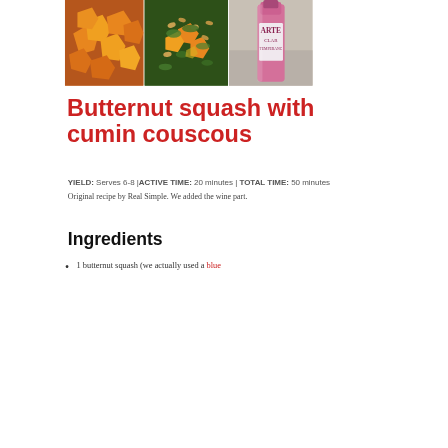[Figure (photo): Three food/wine photos side by side: roasted butternut squash chunks, a salad with nuts and herbs, and a bottle of rosé wine labeled 'ARTE CLAR TEMPERANCE']
Butternut squash with cumin couscous
YIELD: Serves 6-8 |ACTIVE TIME: 20 minutes | TOTAL TIME: 50 minutes
Original recipe by Real Simple. We added the wine part.
Ingredients
1 butternut squash (we actually used a blue